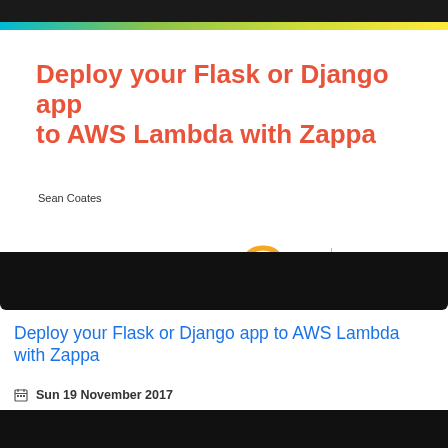[Figure (screenshot): Presentation slide for 'Deploy your Flask or Django app to AWS Lambda with Zappa' by Sean Coates, shown at PyCon CA, 18 au 21 Novembre 2017, UQAM, Montréal Québec. Logos for Argo and PyCon CA visible. Slide has decorative gradient and black bars.]
Deploy your Flask or Django app to AWS Lambda with Zappa
Sun 19 November 2017